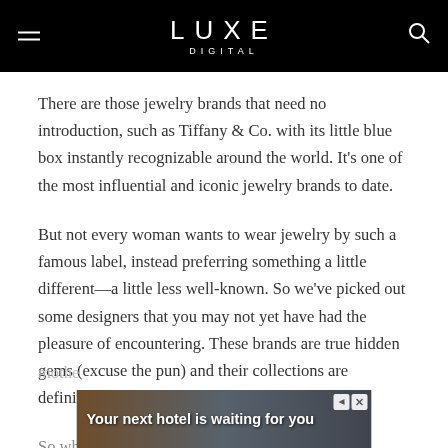LUXE DIGITAL
There are those jewelry brands that need no introduction, such as Tiffany & Co. with its little blue box instantly recognizable around the world. It's one of the most influential and iconic jewelry brands to date.
But not every woman wants to wear jewelry by such a famous label, instead preferring something a little different—a little less well-known. So we've picked out some designers that you may not yet have had the pleasure of encountering. These brands are true hidden gems (excuse the pun) and their collections are definitely worth perusing.
So whether you're looking for a gift for a wife, girlfriend, mother
[Figure (other): Advertisement banner: 'Your next hotel is waiting for you' with hotel background image and close/skip controls]